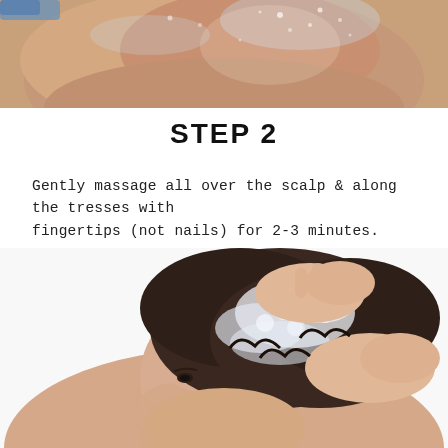[Figure (photo): Person in shower, back view, water droplets visible on skin, wet skin under shower water]
STEP 2
Gently massage all over the scalp & along the tresses with fingertips (not nails) for 2-3 minutes.
[Figure (photo): Woman massaging shampoo lather into dark curly hair with both hands, profile view, white background]